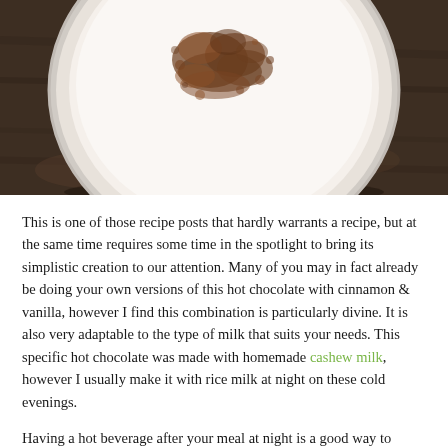[Figure (photo): Top-down view of a white cup of hot chocolate with whipped foam and chocolate shavings/cinnamon sprinkled on top, on a dark wooden background]
This is one of those recipe posts that hardly warrants a recipe, but at the same time requires some time in the spotlight to bring its simplistic creation to our attention. Many of you may in fact already be doing your own versions of this hot chocolate with cinnamon & vanilla, however I find this combination is particularly divine. It is also very adaptable to the type of milk that suits your needs. This specific hot chocolate was made with homemade cashew milk, however I usually make it with rice milk at night on these cold evenings.
Having a hot beverage after your meal at night is a good way to make that transition from eating something extra that most of the time we really don't need, as this snack is usually